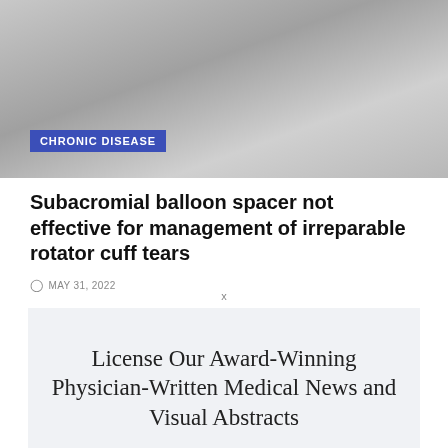[Figure (photo): Grayscale photo background, appears to show fabric or cloth texture]
CHRONIC DISEASE
Subacromial balloon spacer not effective for management of irreparable rotator cuff tears
MAY 31, 2022
x
License Our Award-Winning Physician-Written Medical News and Visual Abstracts
2 Minute Medicine is the leading authoritative medical news licensing service, and the only with reports written by practicing doctors